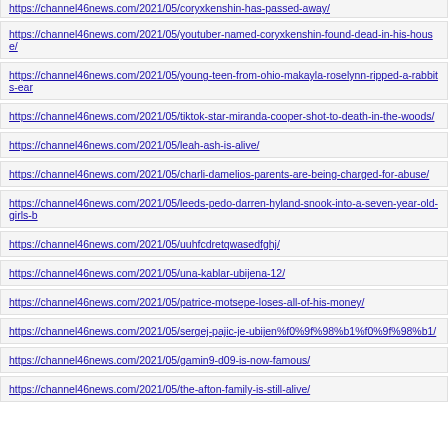https://channel46news.com/2021/05/coryxkenshin-has-passed-away/
https://channel46news.com/2021/05/youtuber-named-coryxkenshin-found-dead-in-his-house/
https://channel46news.com/2021/05/young-teen-from-ohio-makayla-roselynn-ripped-a-rabbits-ear
https://channel46news.com/2021/05/tiktok-star-miranda-cooper-shot-to-death-in-the-woods/
https://channel46news.com/2021/05/leah-ash-is-alive/
https://channel46news.com/2021/05/charli-damelios-parents-are-being-charged-for-abuse/
https://channel46news.com/2021/05/leeds-pedo-darren-hyland-snook-into-a-seven-year-old-girls-b
https://channel46news.com/2021/05/uuhfcdretqwasedfghj/
https://channel46news.com/2021/05/una-kablar-ubijena-12/
https://channel46news.com/2021/05/patrice-motsepe-loses-all-of-his-money/
https://channel46news.com/2021/05/sergej-pajic-je-ubijen%f0%9f%98%b1%f0%9f%98%b1/
https://channel46news.com/2021/05/gamin9-d09-is-now-famous/
https://channel46news.com/2021/05/the-afton-family-is-still-alive/